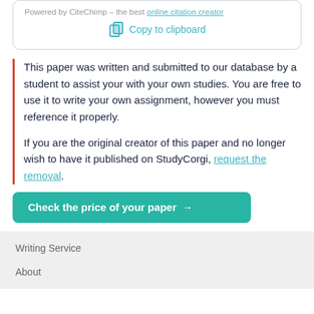Powered by CiteChimp - the best online citation creator
Copy to clipboard
This paper was written and submitted to our database by a student to assist your with your own studies. You are free to use it to write your own assignment, however you must reference it properly.
If you are the original creator of this paper and no longer wish to have it published on StudyCorgi, request the removal.
Check the price of your paper →
Writing Service
About